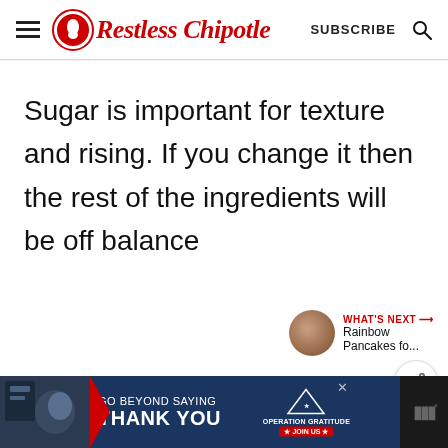Restless Chipotle — SUBSCRIBE
Sugar is important for texture and rising. If you change it then the rest of the ingredients will be off balance
[Figure (screenshot): Red circular heart favorite button (FAB)]
[Figure (screenshot): White circular share button (FAB)]
[Figure (screenshot): What's Next panel with thumbnail image and text 'Rainbow Pancakes fo...']
[Figure (screenshot): Advertisement banner: Go Beyond Saying Thank You - Operation Gratitude Join Us]